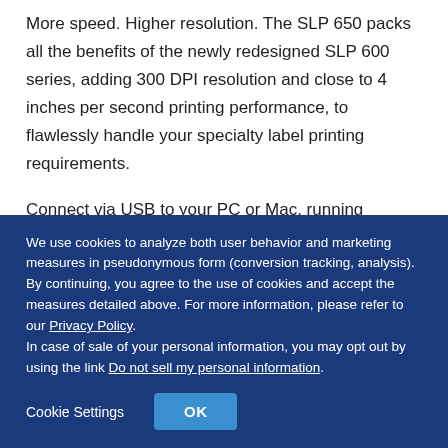More speed. Higher resolution. The SLP 650 packs all the benefits of the newly redesigned SLP 600 series, adding 300 DPI resolution and close to 4 inches per second printing performance, to flawlessly handle your specialty label printing requirements.
Connect via USB to your PC or Mac, running Windows, Mac OS, or Linux. Loading a new roll and changing labels could not be easier. Simply drop in a new roll and you are ready. Enhanced
We use cookies to analyze both user behavior and marketing measures in pseudonymous form (conversion tracking, analysis). By continuing, you agree to the use of cookies and accept the measures detailed above. For more information, please refer to our Privacy Policy. In case of sale of your personal information, you may opt out by using the link Do not sell my personal information.